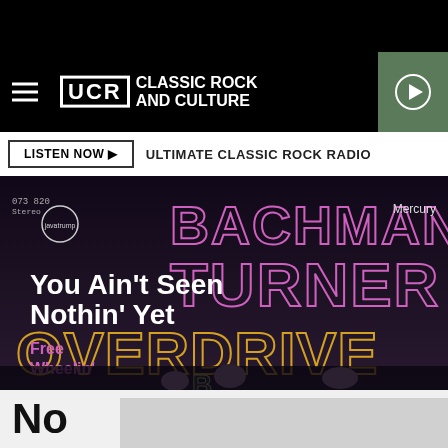UCR Classic Rock and Culture
LISTEN NOW ▶  ULTIMATE CLASSIC ROCK RADIO
[Figure (photo): Bachmann-Turner Overdrive single cover for 'You Ain't Seen Nothin' Yet / Free Wheelin'' on Mercury Records. Shows large stylized text BACHMANN-TURNER OVERDRIVE with the song titles overlaid and band members visible at the bottom.]
Mercury
No